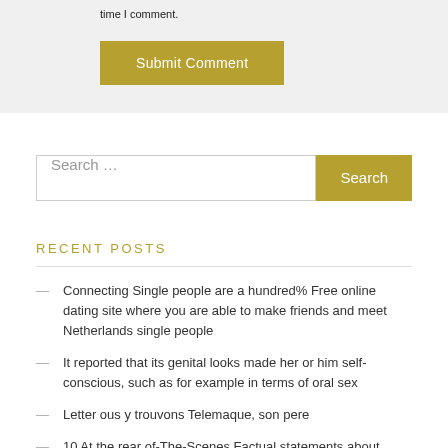time I comment.
Submit Comment
Search …
RECENT POSTS
Connecting Single people are a hundred% Free online dating site where you are able to make friends and meet Netherlands single people
It reported that its genital looks made her or him self-conscious, such as for example in terms of oral sex
Letter ous y trouvons Telemaque, son pere
10 At the rear of-The-Scenes Factual statements about Whenever Harry